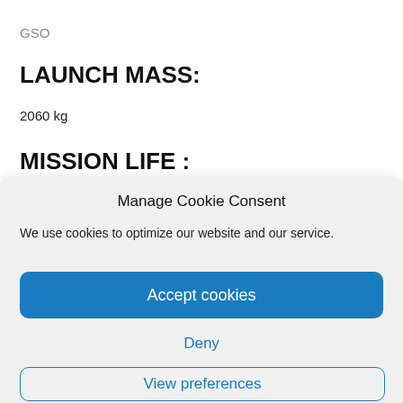GSO
LAUNCH MASS:
2060 kg
MISSION LIFE :
Manage Cookie Consent
We use cookies to optimize our website and our service.
Accept cookies
Deny
View preferences